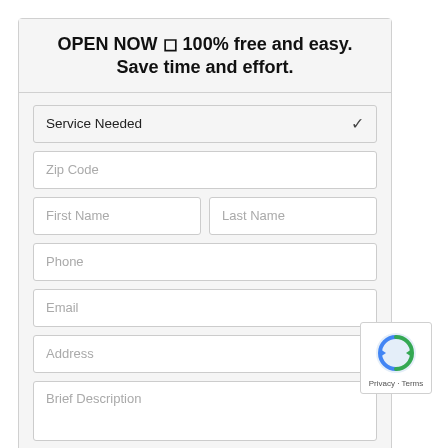OPEN NOW ◻ 100% free and easy. Save time and effort.
[Figure (screenshot): Web form with fields: Service Needed (dropdown), Zip Code, First Name, Last Name, Phone, Email, Address, Brief Description, and an orange 'Get Free Quotes' button. A reCAPTCHA badge with Privacy and Terms links overlays the bottom-right corner.]
You want someone who can bring your project in Inwood to life not only right and on schedule, but who is willing to go the extra